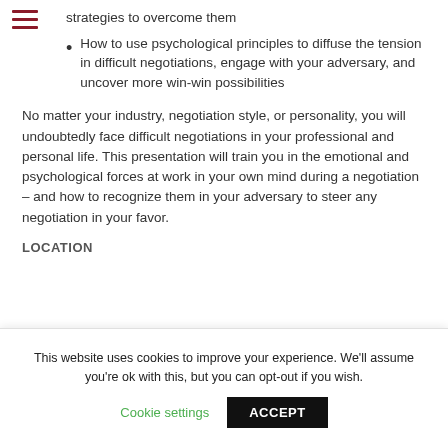strategies to overcome them
How to use psychological principles to diffuse the tension in difficult negotiations, engage with your adversary, and uncover more win-win possibilities
No matter your industry, negotiation style, or personality, you will undoubtedly face difficult negotiations in your professional and personal life. This presentation will train you in the emotional and psychological forces at work in your own mind during a negotiation – and how to recognize them in your adversary to steer any negotiation in your favor.
LOCATION
This website uses cookies to improve your experience. We'll assume you're ok with this, but you can opt-out if you wish.